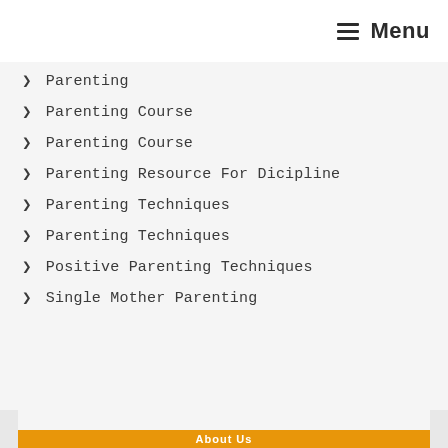≡ Menu
Parenting
Parenting Course
Parenting Course
Parenting Resource For Dicipline
Parenting Techniques
Parenting Techniques
Positive Parenting Techniques
Single Mother Parenting
About Us